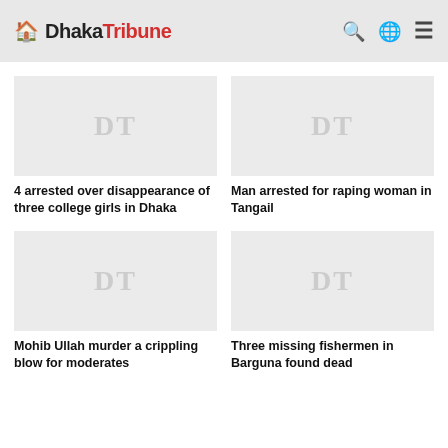Dhaka Tribune
[Figure (illustration): Placeholder image with DT watermark for article: 4 arrested over disappearance of three college girls in Dhaka]
4 arrested over disappearance of three college girls in Dhaka
[Figure (illustration): Placeholder image with DT watermark for article: Man arrested for raping woman in Tangail]
Man arrested for raping woman in Tangail
[Figure (illustration): Placeholder image with DT watermark for article: Mohib Ullah murder a crippling blow for moderates]
Mohib Ullah murder a crippling blow for moderates
[Figure (illustration): Placeholder image with DT watermark for article: Three missing fishermen in Barguna found dead]
Three missing fishermen in Barguna found dead